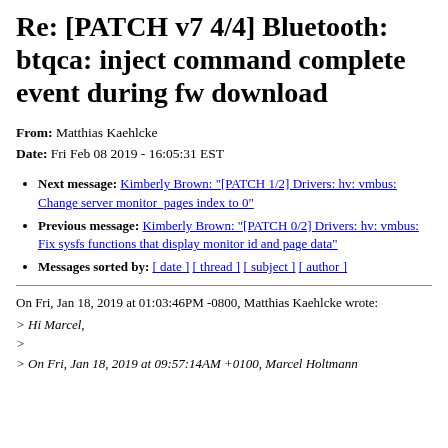Re: [PATCH v7 4/4] Bluetooth: btqca: inject command complete event during fw download
From: Matthias Kaehlcke
Date: Fri Feb 08 2019 - 16:05:31 EST
Next message: Kimberly Brown: "[PATCH 1/2] Drivers: hv: vmbus: Change server monitor_pages index to 0"
Previous message: Kimberly Brown: "[PATCH 0/2] Drivers: hv: vmbus: Fix sysfs functions that display monitor id and page data"
Messages sorted by: [ date ] [ thread ] [ subject ] [ author ]
On Fri, Jan 18, 2019 at 01:03:46PM -0800, Matthias Kaehlcke wrote:
> Hi Marcel,
>
> On Fri, Jan 18, 2019 at 09:57:14AM +0100, Marcel Holtmann